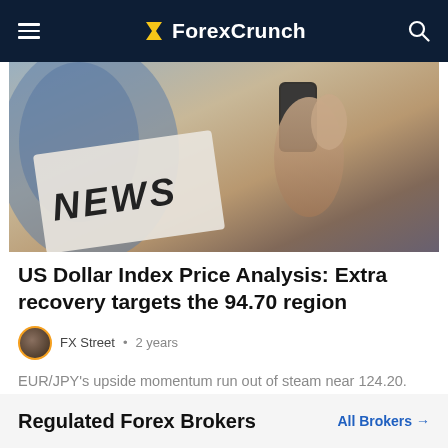ForexCrunch
[Figure (photo): Person holding a smartphone next to a newspaper with 'NEWS' printed on it]
US Dollar Index Price Analysis: Extra recovery targets the 94.70 region
FX Street • 2 years
EUR/JPY's upside momentum run out of steam near 124.20. The 3-month resistance line keeps capping extra gains. The recent advance in EUR/JPY…
Regulated Forex Brokers
All Brokers →